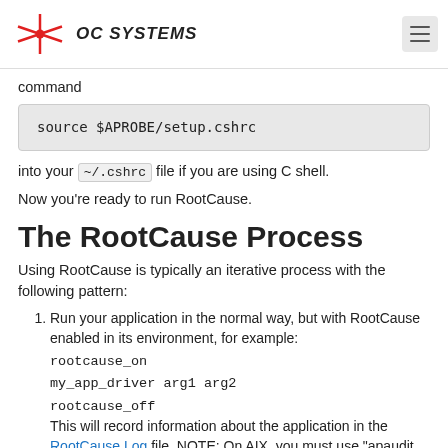OC SYSTEMS
command
source $APROBE/setup.cshrc
into your ~/.cshrc file if you are using C shell.
Now you're ready to run RootCause.
The RootCause Process
Using RootCause is typically an iterative process with the following pattern:
Run your application in the normal way, but with RootCause enabled in its environment, for example:
rootcause_on
my_app_driver arg1 arg2
rootcause_off
This will record information about the application in the RootCause Log file. NOTE: On AIX, you must use "apaudit